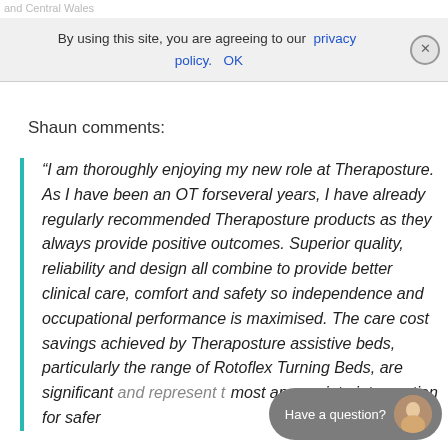and Central Wales
By using this site, you are agreeing to our privacy policy.   OK
Shaun comments:
“I am thoroughly enjoying my new role at Theraposture. As I have been an OT forseveral years, I have already regularly recommended Theraposture products as they always provide positive outcomes. Superior quality, reliability and design all combine to provide better clinical care, comfort and safety so independence and occupational performance is maximised. The care cost savings achieved by Theraposture assistive beds, particularly the range of Rotoflex Turning Beds, are significant and represent the most appropriate intervention for safer
Have a question?